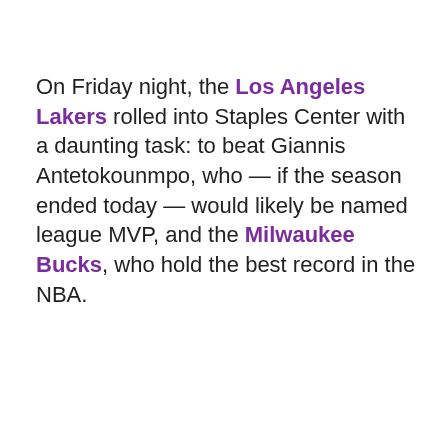On Friday night, the Los Angeles Lakers rolled into Staples Center with a daunting task: to beat Giannis Antetokounmpo, who — if the season ended today — would likely be named league MVP, and the Milwaukee Bucks, who hold the best record in the NBA.